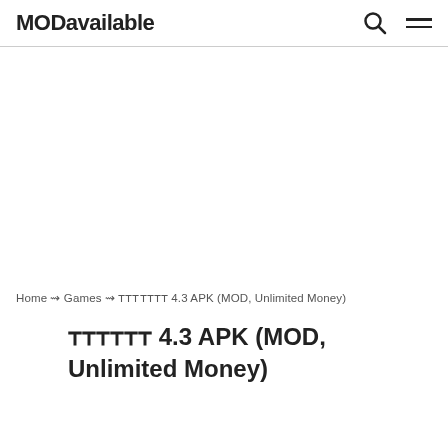MODavailable
[Figure (other): Large blank advertisement/content area below the header navigation]
Home ⇝ Games ⇝ ᴛᴛᴛᴛᴛᴛᴛ 4.3 APK (MOD, Unlimited Money)
ᴛᴛᴛᴛᴛᴛ 4.3 APK (MOD, Unlimited Money)